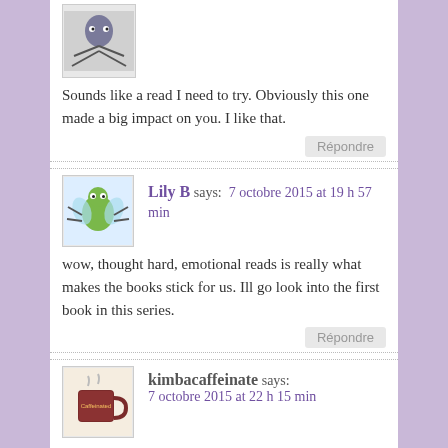[Figure (illustration): Small avatar image of a cartoon spider/bug character on grey background, partially visible at top]
Sounds like a read I need to try. Obviously this one made a big impact on you. I like that.
Répondre
[Figure (illustration): Avatar image of a cartoon green bug/spider character on white/light blue background]
Lily B says: 7 octobre 2015 at 19 h 57 min
wow, thought hard, emotional reads is really what makes the books stick for us. Ill go look into the first book in this series.
Répondre
[Figure (illustration): Avatar image showing a brown mug/cup with text Caffeinated on light background]
kimbacaffeinate says: 7 octobre 2015 at 22 h 15 min
There is nothing better than a book